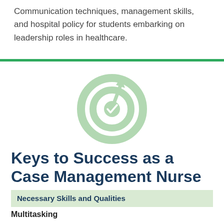Communication techniques, management skills, and hospital policy for students embarking on leadership roles in healthcare.
[Figure (illustration): Light green target/bullseye icon with a checkmark arrow hitting the center, representing success or goal achievement.]
Keys to Success as a Case Management Nurse
Necessary Skills and Qualities
Multitasking